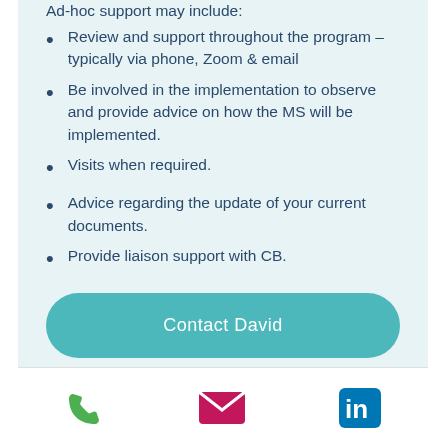Ad-hoc support may include:
Review and support throughout the program – typically via phone, Zoom & email
Be involved in the implementation to observe and provide advice on how the MS will be implemented.
Visits when required.
Advice regarding the update of your current documents.
Provide liaison support with CB.
Contact David